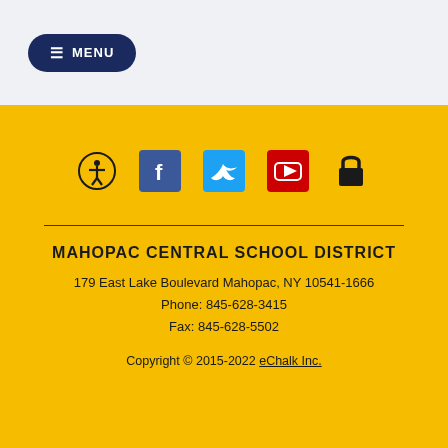☰ MENU
[Figure (other): Social media and accessibility icons: accessibility symbol (circle with person), Facebook (blue square with f), Twitter (blue square with bird), YouTube (red square with play button), lock icon]
MAHOPAC CENTRAL SCHOOL DISTRICT
179 East Lake Boulevard Mahopac, NY 10541-1666
Phone: 845-628-3415
Fax: 845-628-5502
Copyright © 2015-2022 eChalk Inc.